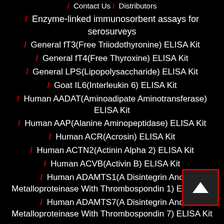/ Contact Us / Distributors
/ Enzyme-linked immunosorbent assays for serosurveys
/ General fT3(Free Triiodothyronine) ELISA Kit
/ General fT4(Free Thyroxine) ELISA Kit
/ General LPS(Lipopolysaccharide) ELISA Kit
/ Goat IL6(Interleukin 6) ELISA Kit
/ Human AADAT(Aminoadipate Aminotransferase) ELISA Kit
/ Human AAP(Alanine Aminopeptidase) ELISA Kit
/ Human ACR(Acrosin) ELISA Kit
/ Human ACTN2(Actinin Alpha 2) ELISA Kit
/ Human ACVB(Activin B) ELISA Kit
/ Human ADAMTS1(A Disintegrin And Metalloproteinase With Thrombospondin 1) ELISA Kit
/ Human ADAMTS7(A Disintegrin And Metalloproteinase With Thrombospondin 7) ELISA Kit
/ Human ADIPOR1(Adiponectin Receptor 1) ELISA Kit
/ Human ADIPOR2(Adiponectin Receptor 2) ELISA Kit